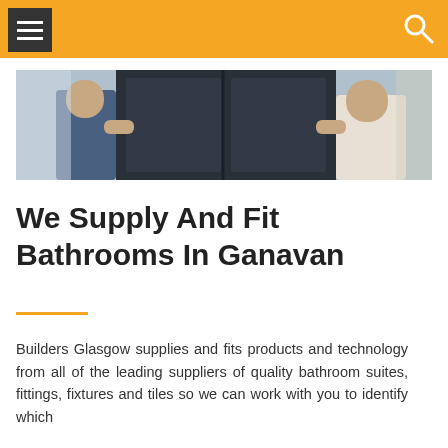[Figure (photo): Two workers installing a dark bathroom cabinet/furniture piece. One person wearing jeans is visible on the left, another in a white shirt on the right.]
We Supply And Fit Bathrooms In Ganavan
Builders Glasgow supplies and fits products and technology from all of the leading suppliers of quality bathroom suites, fittings, fixtures and tiles so we can work with you to identify which